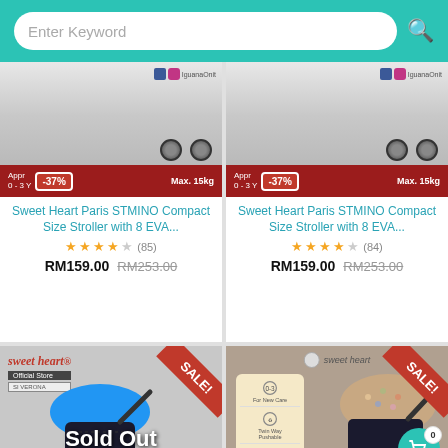Enter Keyword
[Figure (screenshot): Product card 1: Sweet Heart Paris STMINO stroller top image with -37% discount badge, Max. 15kg label]
Sweet Heart Paris STMINO Compact Size Stroller with 8 EVA...
★★★★☆ (85)
RM159.00 RM253.00
[Figure (screenshot): Product card 2: Sweet Heart Paris STMINO stroller top image with -37% discount badge, Max. 15kg label]
Sweet Heart Paris STMINO Compact Size Stroller with 8 EVA...
★★★★☆ (84)
RM159.00 RM253.00
[Figure (screenshot): Product card 3: Sweet heart stroller - Sold Out, blue canopy stroller with SALE! ribbon, -61% badge]
[Figure (screenshot): Product card 4: Sweet heart reversible handler stroller with SALE! ribbon, -41% badge, Approx. 0-3Y, cart icon with 0 count, Reversible Handler Stroller bubble]